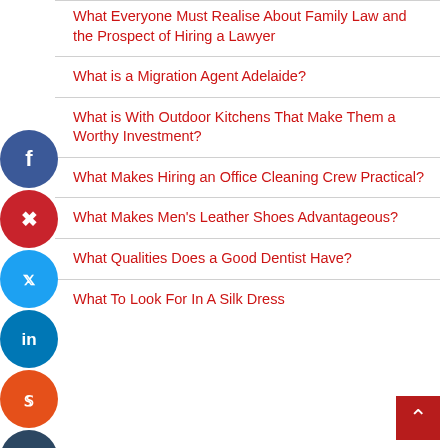What Everyone Must Realise About Family Law and the Prospect of Hiring a Lawyer
What is a Migration Agent Adelaide?
What is With Outdoor Kitchens That Make Them a Worthy Investment?
What Makes Hiring an Office Cleaning Crew Practical?
What Makes Men's Leather Shoes Advantageous?
What Qualities Does a Good Dentist Have?
What To Look For In A Silk Dress